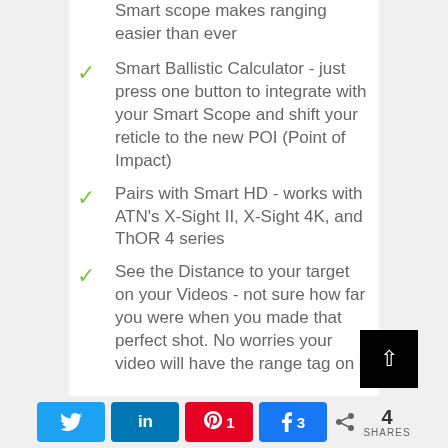Smart scope makes ranging easier than ever
Smart Ballistic Calculator - just press one button to integrate with your Smart Scope and shift your reticle to the new POI (Point of Impact)
Pairs with Smart HD - works with ATN's X-Sight II, X-Sight 4K, and ThOR 4 series
See the Distance to your target on your Videos - not sure how far you were when you made that perfect shot. No worries your video will have the range tag on it